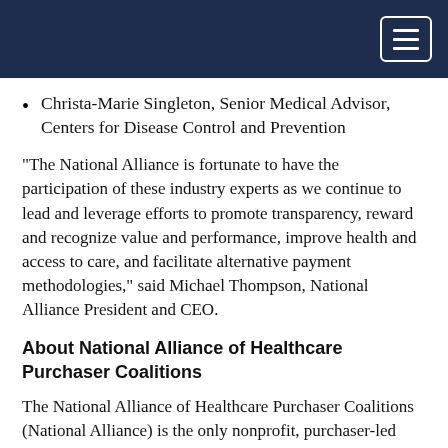Christa-Marie Singleton, Senior Medical Advisor, Centers for Disease Control and Prevention
“The National Alliance is fortunate to have the participation of these industry experts as we continue to lead and leverage efforts to promote transparency, reward and recognize value and performance, improve health and access to care, and facilitate alternative payment methodologies,” said Michael Thompson, National Alliance President and CEO.
About National Alliance of Healthcare Purchaser Coalitions
The National Alliance of Healthcare Purchaser Coalitions (National Alliance) is the only nonprofit, purchaser-led organization with a national and